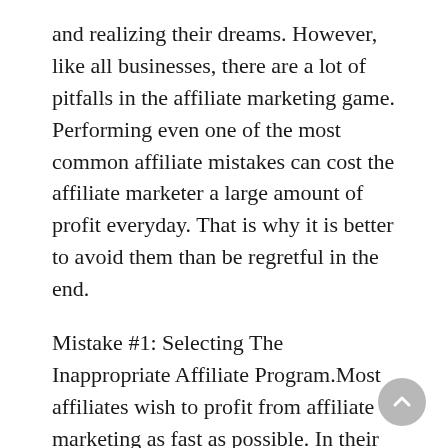and realizing their dreams. However, like all businesses, there are a lot of pitfalls in the affiliate marketing game. Performing even one of the most common affiliate mistakes can cost the affiliate marketer a large amount of profit everyday. That is why it is better to avoid them than be regretful in the end.
Mistake #1: Selecting The Inappropriate Affiliate Program.Most affiliates wish to profit from affiliate marketing as fast as possible. In their haste to be successful, they often impulsively choose an inappropriate affiliate product to promote. Because these are the products that sell well in the market, they often choose those that